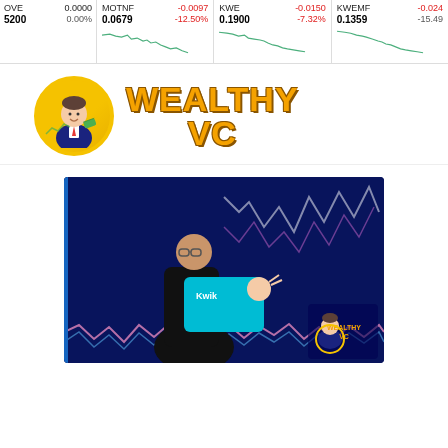[Figure (infographic): Stock ticker bar showing 4 tickers: OVE (0.0000, 0.00%), MOTNF (-0.0097, 0.0679, -12.50%), KWE (-0.0150, 0.1900, -7.32%), KWEMF (-0.024x, 0.1359, -15.49x%), each with a small declining line chart]
[Figure (logo): Wealthy VC logo: cartoon businessman avatar in gold circle border, with 'WEALTHY VC' in large orange 3D-style font]
[Figure (photo): Promotional image on dark blue background showing stock charts, two people (one holding a phone showing 'Kwik' branding), and the Wealthy VC cartoon mascot logo in lower right]